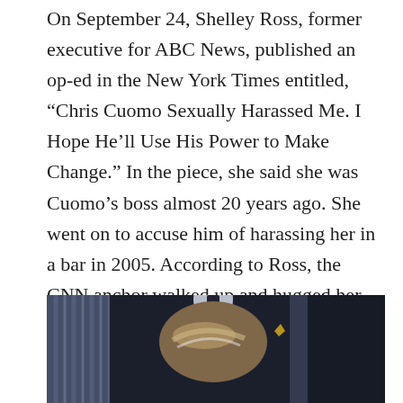On September 24, Shelley Ross, former executive for ABC News, published an op-ed in the New York Times entitled, “Chris Cuomo Sexually Harassed Me. I Hope He’ll Use His Power to Make Change.” In the piece, she said she was Cuomo’s boss almost 20 years ago. She went on to accuse him of harassing her in a bar in 2005. According to Ross, the CNN anchor walked up and hugged her, then lowered his hand to “firmly grab and squeeze the cheek of [her] buttock.”
[Figure (photo): A photograph showing a person with blonde/highlighted hair in the foreground, wearing what appears to be a striped garment. Behind them are other figures in dark suits. The image is cropped so only the top of the head and upper torso area is visible.]